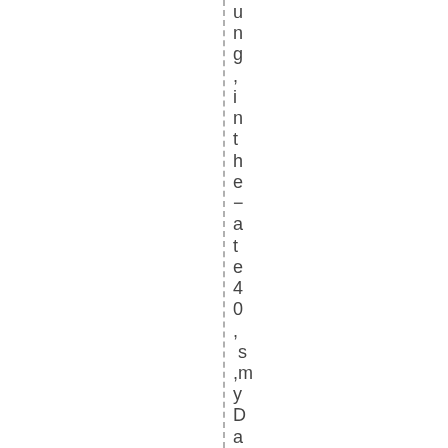ung,inthela te40,s .myDadleftfor